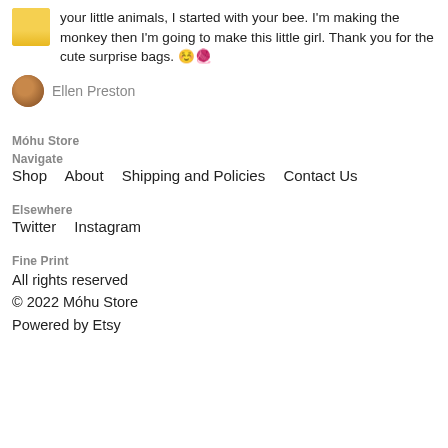your little animals, I started with your bee. I'm making the monkey then I'm going to make this little girl. Thank you for the cute surprise bags. 😊🧶
Ellen Preston
Móhu Store
Navigate
Shop    About    Shipping and Policies    Contact Us
Elsewhere
Twitter    Instagram
Fine Print
All rights reserved
© 2022 Móhu Store
Powered by Etsy